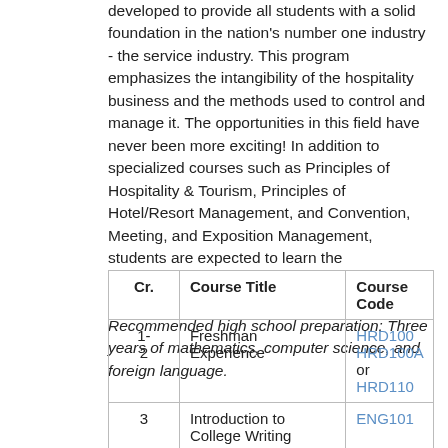developed to provide all students with a solid foundation in the nation's number one industry - the service industry. This program emphasizes the intangibility of the hospitality business and the methods used to control and manage it. The opportunities in this field have never been more exciting! In addition to specialized courses such as Principles of Hospitality & Tourism, Principles of Hotel/Resort Management, and Convention, Meeting, and Exposition Management, students are expected to learn the fundamentals of such fields as accounting, business law, economics and marketing. Recommended high school preparation: Three years of mathematics, computer science, and foreign language.
| Cr. | Course Title | Course Code |
| --- | --- | --- |
| 1-2 | Freshman Experience | HRD100 HRD100A or HRD110 |
| 3 | Introduction to College Writing | ENG101 |